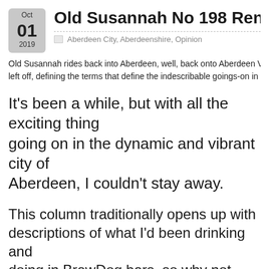Old Susannah No 198 Rent and R
Oct 01 2019 · Aberdeen City, Aberdeenshire, Opinion
Old Susannah rides back into Aberdeen, well, back onto Aberdeen V left off, defining the terms that define the indescribable goings-on in t
It's been a while, but with all the exciting things going on in the dynamic and vibrant city of Aberdeen, I couldn't stay away.
This column traditionally opens up with descriptions of what I'd been drinking and doing in BrewDog bars, so why not now? I've visited BrewDog Brighton (Drank my first Dog F – a rich, heady dark offering) and BrewDog Clerkenwell to enjoy Obzest – very citrusy and refreshing.